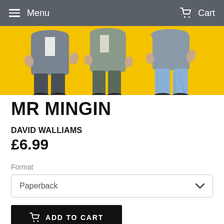Menu  Cart
[Figure (illustration): Book cover illustration showing cartoon figures (people's torsos and legs) on a yellow background — partial crop showing only lower halves of characters.]
MR MINGIN
DAVID WALLIAMS
£6.99
Format
Paperback
ADD TO CART